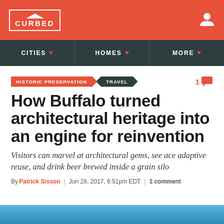CURBED
CITIES | HOMES | MORE
HISTORIC PRESERVATION / TRAVEL
How Buffalo turned architectural heritage into an engine for reinvention
Visitors can marvel at architectural gems, see ace adaptive reuse, and drink beer brewed inside a grain silo
By Patrick Sisson | Jun 28, 2017, 6:51pm EDT | 1 comment